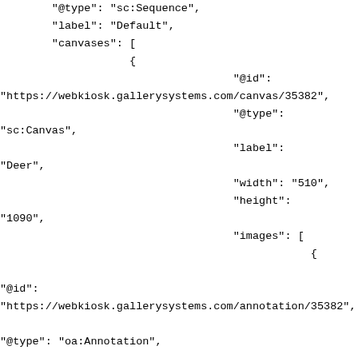"@type": "sc:Sequence",
            "label": "Default",
            "canvases": [
                        {
                                        "@id":
"https://webkiosk.gallerysystems.com/canvas/35382",
                                        "@type":
"sc:Canvas",
                                        "label":
"Deer",
                                        "width": "510",
                                        "height":
"1090",
                                        "images": [
                                                    {
"@id":
"https://webkiosk.gallerysystems.com/annotation/35382",
"@type": "oa:Annotation",
"motivation": "sc:painting",
"on":
"https://webkiosk.gallerysystems.com/canvas/35382",
"resource":
{